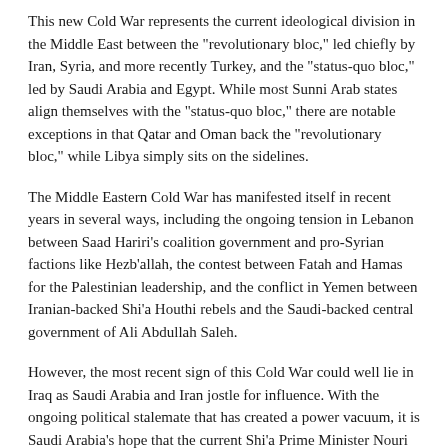This new Cold War represents the current ideological division in the Middle East between the "revolutionary bloc," led chiefly by Iran, Syria, and more recently Turkey, and the "status-quo bloc," led by Saudi Arabia and Egypt. While most Sunni Arab states align themselves with the "status-quo bloc," there are notable exceptions in that Qatar and Oman back the "revolutionary bloc," while Libya simply sits on the sidelines.
The Middle Eastern Cold War has manifested itself in recent years in several ways, including the ongoing tension in Lebanon between Saad Hariri's coalition government and pro-Syrian factions like Hezb'allah, the contest between Fatah and Hamas for the Palestinian leadership, and the conflict in Yemen between Iranian-backed Shi'a Houthi rebels and the Saudi-backed central government of Ali Abdullah Saleh.
However, the most recent sign of this Cold War could well lie in Iraq as Saudi Arabia and Iran jostle for influence. With the ongoing political stalemate that has created a power vacuum, it is Saudi Arabia's hope that the current Shi'a Prime Minister Nouri Al-Maliki does not retain his position in power for fear that he will tilt Iraq towards Iran's regional bloc. Meanwhile, Iran not only wishes for him to remain as prime minister, but also hopes for Maliki's State of Law (SOA) coalition and the Sadrist Iraqi National Alliance (INA) to form the backbone of a new government, whereas the U.S. views a coalition between SOA and Iyad